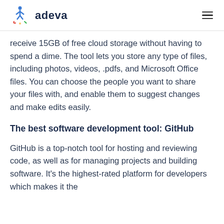adeva
receive 15GB of free cloud storage without having to spend a dime. The tool lets you store any type of files, including photos, videos, .pdfs, and Microsoft Office files. You can choose the people you want to share your files with, and enable them to suggest changes and make edits easily.
The best software development tool: GitHub
GitHub is a top-notch tool for hosting and reviewing code, as well as for managing projects and building software. It's the highest-rated platform for developers which makes it the